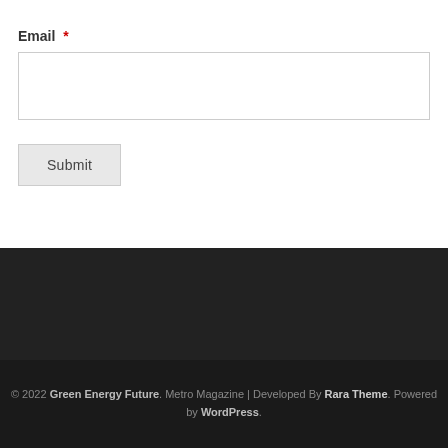Email *
Submit
© 2022 Green Energy Future. Metro Magazine | Developed By Rara Theme. Powered by WordPress.